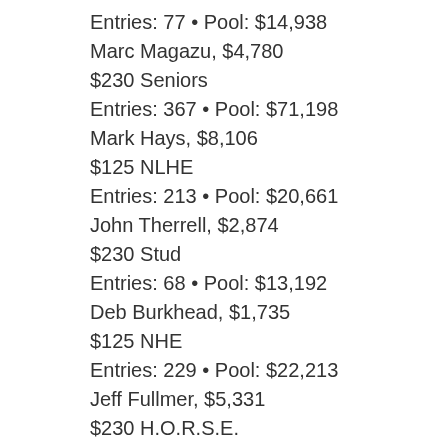Entries: 77 • Pool: $14,938
Marc Magazu, $4,780
$230 Seniors
Entries: 367 • Pool: $71,198
Mark Hays, $8,106
$125 NLHE
Entries: 213 • Pool: $20,661
John Therrell, $2,874
$230 Stud
Entries: 68 • Pool: $13,192
Deb Burkhead, $1,735
$125 NHE
Entries: 229 • Pool: $22,213
Jeff Fullmer, $5,331
$230 H.O.R.S.E.